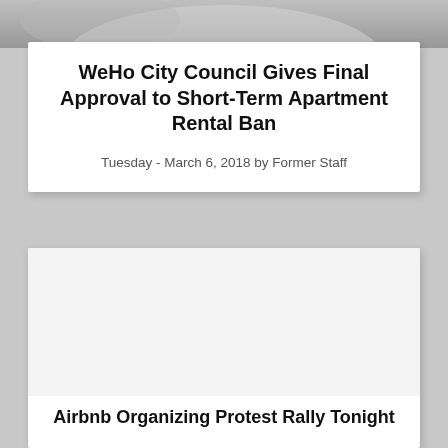[Figure (photo): Partial view of a photo at the top of the page, cropped — appears to show a person or scene, mostly gray]
WeHo City Council Gives Final Approval to Short-Term Apartment Rental Ban
Tuesday - March 6, 2018 by Former Staff
[Figure (photo): Large white/light gray placeholder image area for a second news article]
Airbnb Organizing Protest Rally Tonight